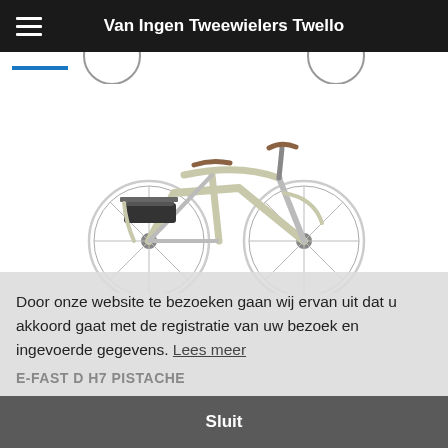Van Ingen Tweewielers Twello
E-CURB D T7
[Figure (photo): A light-colored step-through electric bicycle (e-bike) with brown saddle and handlebars, rear-mounted battery/motor, and spoke wheels, shown in profile view against a white background.]
Door onze website te bezoeken gaan wij ervan uit dat u akkoord gaat met de registratie van uw bezoek en ingevoerde gegevens. Lees meer
E-FAST D H7 PISTACHE
Sluit